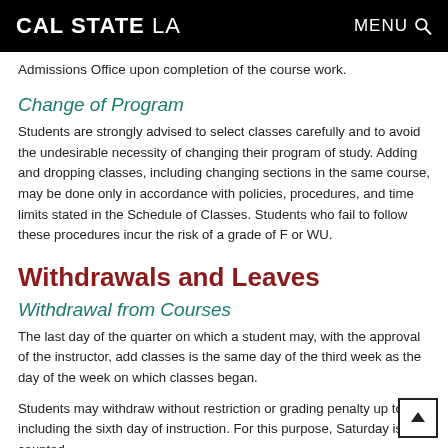CAL STATE LA   MENU
Admissions Office upon completion of the course work.
Change of Program
Students are strongly advised to select classes carefully and to avoid the undesirable necessity of changing their program of study. Adding and dropping classes, including changing sections in the same course, may be done only in accordance with policies, procedures, and time limits stated in the Schedule of Classes. Students who fail to follow these procedures incur the risk of a grade of F or WU.
Withdrawals and Leaves
Withdrawal from Courses
The last day of the quarter on which a student may, with the approval of the instructor, add classes is the same day of the third week as the day of the week on which classes began.
Students may withdraw without restriction or grading penalty up to and including the sixth day of instruction. For this purpose, Saturday is not counted